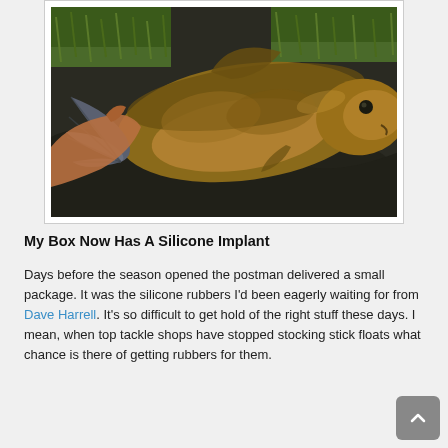[Figure (photo): A large tench fish lying on a dark unhooking mat with green grass visible in the background. The fish displays golden-olive colouring with a broad body and distinctive fan-like tail fin.]
My Box Now Has A Silicone Implant
Days before the season opened the postman delivered a small package. It was the silicone rubbers I'd been eagerly waiting for from Dave Harrell. It's so difficult to get hold of the right stuff these days. I mean, when top tackle shops have stopped stocking stick floats what chance is there of getting rubbers for them.